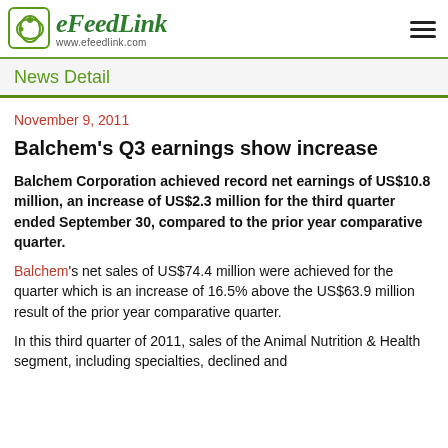eFeedLink www.efeedlink.com
News Detail
November 9, 2011
Balchem's Q3 earnings show increase
Balchem Corporation achieved record net earnings of US$10.8 million, an increase of US$2.3 million for the third quarter ended September 30, compared to the prior year comparative quarter.
Balchem's net sales of US$74.4 million were achieved for the quarter which is an increase of 16.5% above the US$63.9 million result of the prior year comparative quarter.
In this third quarter of 2011, sales of the Animal Nutrition & Health segment, including specialties, declined and